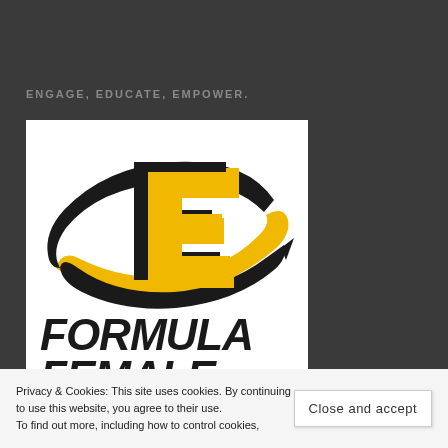ENGAGE, EDUCATE, EMPOWER.
[Figure (logo): Formula Female logo: large stylized black letter E with yellow highlights, surrounded by two sweeping black and yellow swoosh/orbit lines forming an oval around the E. Below the icon, bold black text reads FORMULA on first line and FEMALE on second line (partially cropped).]
Privacy & Cookies: This site uses cookies. By continuing to use this website, you agree to their use. To find out more, including how to control cookies,
Close and accept